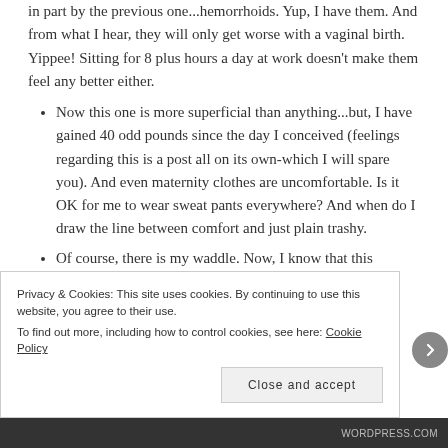in part by the previous one...hemorrhoids. Yup, I have them. And from what I hear, they will only get worse with a vaginal birth. Yippee! Sitting for 8 plus hours a day at work doesn't make them feel any better either.
Now this one is more superficial than anything...but, I have gained 40 odd pounds since the day I conceived (feelings regarding this is a post all on its own-which I will spare you). And even maternity clothes are uncomfortable. Is it OK for me to wear sweat pants everywhere? And when do I draw the line between comfort and just plain trashy.
Of course, there is my waddle. Now, I know that this
Privacy & Cookies: This site uses cookies. By continuing to use this website, you agree to their use.
To find out more, including how to control cookies, see here: Cookie Policy
Close and accept